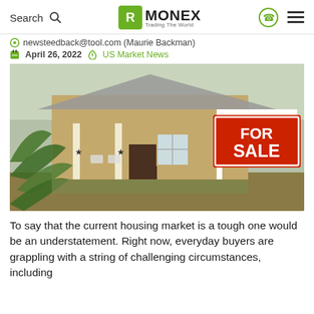Search | MONEX Trading The World
newsteedback@tool.com (Maurie Backman)
April 26, 2022   US Market News
[Figure (photo): A house for sale with a prominent red FOR SALE sign in the front yard, featuring a porch with white rocking chairs and palm trees]
To say that the current housing market is a tough one would be an understatement. Right now, everyday buyers are grappling with a string of challenging circumstances, including